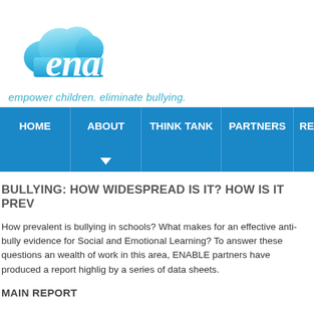[Figure (logo): ENABLE logo with cloud shape in blue gradient and 'enable' text in white cursive font]
empower children. eliminate bullying.
[Figure (screenshot): Navigation bar with HOME, ABOUT (selected with arrow), THINK TANK, PARTNERS, RE... menu items on blue background]
BULLYING: HOW WIDESPREAD IS IT? HOW IS IT PREV
How prevalent is bullying in schools? What makes for an effective anti-bully evidence for Social and Emotional Learning? To answer these questions an wealth of work in this area, ENABLE partners have produced a report highlig by a series of data sheets.
MAIN REPORT